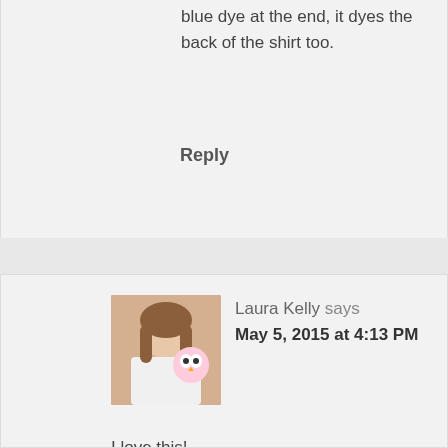blue dye at the end, it dyes the back of the shirt too.
Reply
[Figure (photo): Profile photo of Laura Kelly, a woman with long brown hair wearing a white apron, holding a colorful owl craft]
Laura Kelly says
May 5, 2015 at 4:13 PM
I love this!
Reply
[Figure (photo): Profile photo of Kelly, a woman with dark hair]
Kelly says